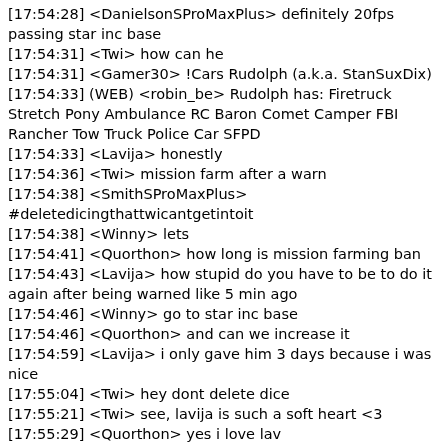[17:54:28] <DanielsonSProMaxPlus> definitely 20fps passing star inc base
[17:54:31] <Twi> how can he
[17:54:31] <Gamer30> !Cars Rudolph (a.k.a. StanSuxDix)
[17:54:33] (WEB) <robin_be> Rudolph has: Firetruck Stretch Pony Ambulance RC Baron Comet Camper FBI Rancher Tow Truck Police Car SFPD
[17:54:33] <Lavija> honestly
[17:54:36] <Twi> mission farm after a warn
[17:54:38] <SmithSProMaxPlus> #deletedicingthattwicantgetintoit
[17:54:38] <Winny> lets
[17:54:41] <Quorthon> how long is mission farming ban
[17:54:43] <Lavija> how stupid do you have to be to do it again after being warned like 5 min ago
[17:54:46] <Winny> go to star inc base
[17:54:46] <Quorthon> and can we increase it
[17:54:59] <Lavija> i only gave him 3 days because i was nice
[17:55:04] <Twi> hey dont delete dice
[17:55:21] <Twi> see, lavija is such a soft heart <3
[17:55:29] <Quorthon> yes i love lav
[17:55:34] <Twi> me too
[17:55:34] <Gamer30> Solid 47 FPS at Star base and that's only because I have capped it at /fpslimit.
[17:55:39] <SmithSProMaxPlus> !lastmission
[17:55:39] <Quorthon> he even reduced my fly hack ban
[17:55:44] (WEB) The Server Admin helped Free Play Players...